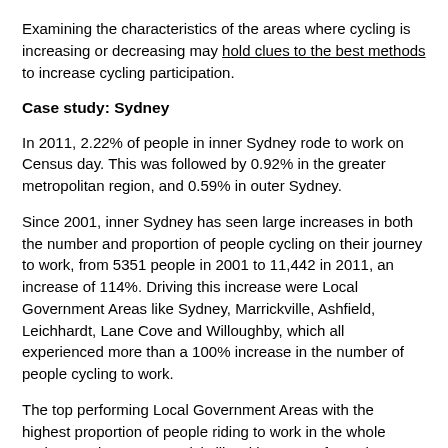Examining the characteristics of the areas where cycling is increasing or decreasing may hold clues to the best methods to increase cycling participation.
Case study: Sydney
In 2011, 2.22% of people in inner Sydney rode to work on Census day. This was followed by 0.92% in the greater metropolitan region, and 0.59% in outer Sydney.
Since 2001, inner Sydney has seen large increases in both the number and proportion of people cycling on their journey to work, from 5351 people in 2001 to 11,442 in 2011, an increase of 114%. Driving this increase were Local Government Areas like Sydney, Marrickville, Ashfield, Leichhardt, Lane Cove and Willoughby, which all experienced more than a 100% increase in the number of people cycling to work.
The top performing Local Government Areas with the highest proportion of people riding to work in the whole Sydney region were Marrickville with 4.39% of people cycling to work, followed by Leichhardt (3.81%), Sydney (3.64%), Waverley (2.91%), Manly (2.79%), Randwick (2.50%) and Newcastle (2.46%). Five of the